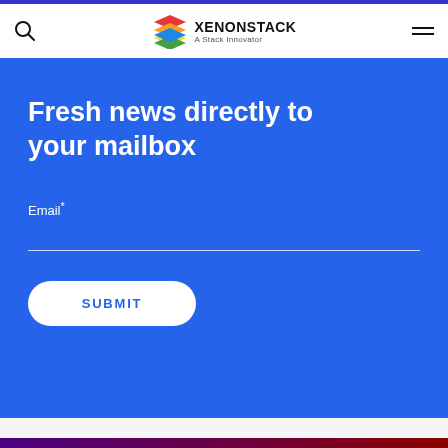XENONSTACK A Stack Innovator
Fresh news directly to your mailbox
Email*
SUBMIT